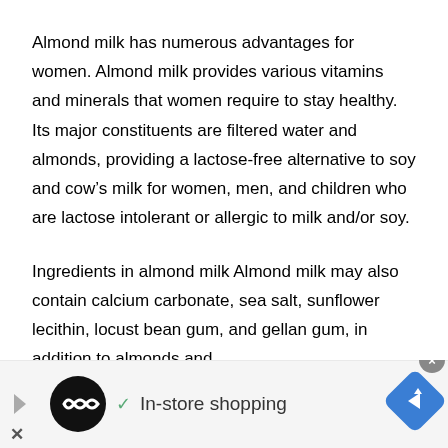Almond milk has numerous advantages for women. Almond milk provides various vitamins and minerals that women require to stay healthy. Its major constituents are filtered water and almonds, providing a lactose-free alternative to soy and cow's milk for women, men, and children who are lactose intolerant or allergic to milk and/or soy.
Ingredients in almond milk Almond milk may also contain calcium carbonate, sea salt, sunflower lecithin, locust bean gum, and gellan gum, in addition to almonds and
[Figure (other): Advertisement banner at the bottom of the page showing an ad with a black circular logo with infinity-like symbol, a checkmark, text 'In-store shopping', a blue diamond navigation icon on the right, and an X close button on the left.]